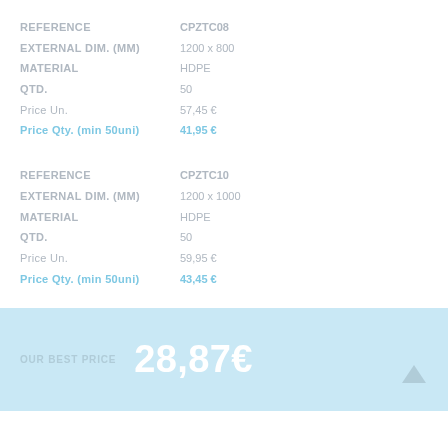| Field | Value |
| --- | --- |
| REFERENCE | CPZTC08 |
| EXTERNAL DIM. (MM) | 1200 x 800 |
| MATERIAL | HDPE |
| QTD. | 50 |
| Price Un. | 57,45 € |
| Price Qty. (min 50uni) | 41,95 € |
| Field | Value |
| --- | --- |
| REFERENCE | CPZTC10 |
| EXTERNAL DIM. (MM) | 1200 x 1000 |
| MATERIAL | HDPE |
| QTD. | 50 |
| Price Un. | 59,95 € |
| Price Qty. (min 50uni) | 43,45 € |
OUR BEST PRICE   28,87€